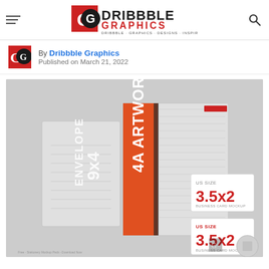Dribbble Graphics — hamburger menu, logo, search icon
By Dribbble Graphics
Published on March 21, 2022
[Figure (illustration): Mockup design showing envelope (9x4) and 4A Artwork stationery set with US Size 3.5x2 business cards on grey background]